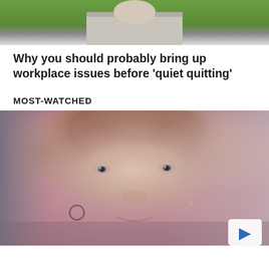[Figure (photo): Person working on laptop outdoors on grass, partially visible from shoulders up]
Why you should probably bring up workplace issues before 'quiet quitting'
MOST-WATCHED
[Figure (photo): Close-up portrait of a woman with curly reddish-brown hair looking at camera, vintage/retro style photo with muted pink-purple tones, play button overlay in bottom right corner]